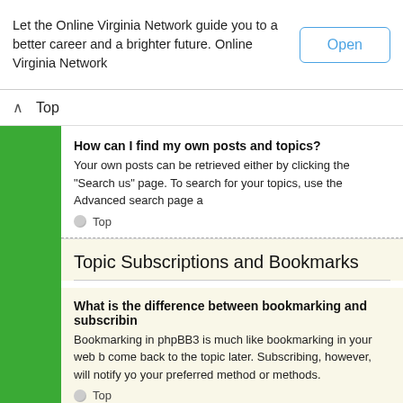Let the Online Virginia Network guide you to a better career and a brighter future. Online Virginia Network
Open
Top
How can I find my own posts and topics?
Your own posts can be retrieved either by clicking the “Search us” page. To search for your topics, use the Advanced search page a
Top
Topic Subscriptions and Bookmarks
What is the difference between bookmarking and subscribin
Bookmarking in phpBB3 is much like bookmarking in your web b come back to the topic later. Subscribing, however, will notify yo your preferred method or methods.
Top
How do I subscribe to specific forums or topics?
To subscribe to a specific forum, click the “Subscribe forum” link topic with the subscribe checkbox checked or click the “Subscrib